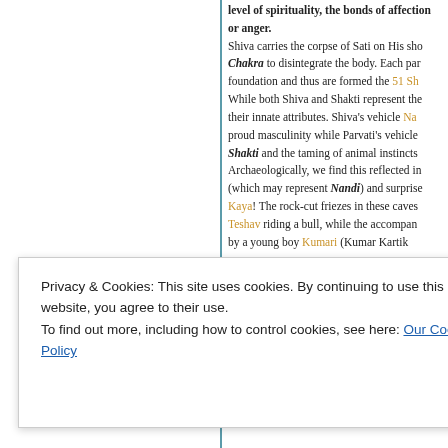level of spirituality, the bonds of affection or anger. Shiva carries the corpse of Sati on His shoulder, and Vishnu uses His Chakra to disintegrate the body. Each part falls and becomes the foundation and thus are formed the 51 Shakti Pithas. While both Shiva and Shakti represent the divine, they differ in their innate attributes. Shiva's vehicle Nandi represents proud masculinity while Parvati's vehicle Lion represents Shakti and the taming of animal instincts. Archaeologically, we find this reflected in certain rock-cut caves (which may represent Nandi) and surprises us with Kaya! The rock-cut friezes in these caves show Teshav riding a bull, while the accompanying figure is a young boy Kumari (Kumar Kartik
Privacy & Cookies: This site uses cookies. By continuing to use this website, you agree to their use. To find out more, including how to control cookies, see here: Our Cookie Policy